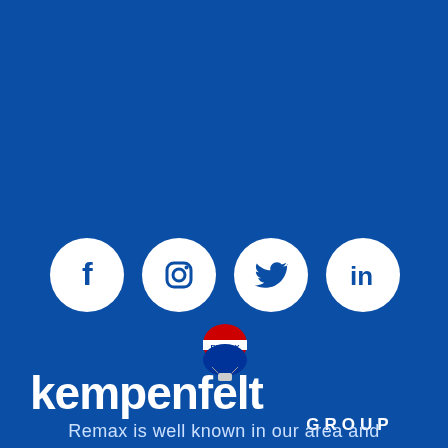[Figure (infographic): Four white social media icon circles on blue background: Facebook, Instagram, Twitter, LinkedIn]
[Figure (logo): RE/MAX hot air balloon logo above kempenfelt GROUP text in white on blue background]
Remax is well known in our area and